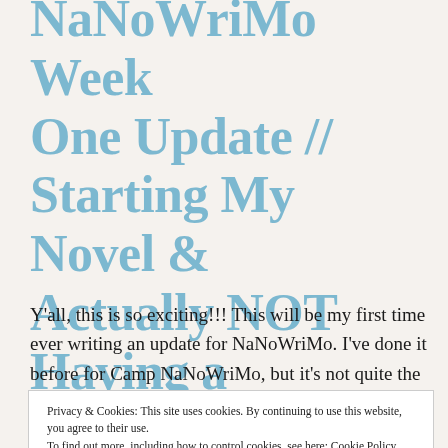NaNoWriMo Week One Update // Starting My Novel & Actually NOT Having a Meltdown
Y'all, this is so exciting!!! This will be my first time ever writing an update for NaNoWriMo. I've done it before for Camp NaNoWriMo, but it's not quite the same.
Privacy & Cookies: This site uses cookies. By continuing to use this website, you agree to their use. To find out more, including how to control cookies, see here: Cookie Policy
night circus, one of my all-time favorite books